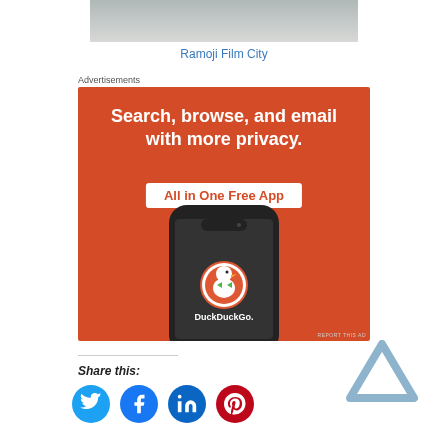[Figure (photo): Top portion of a photo, appears to be Ramoji Film City]
Ramoji Film City
Advertisements
[Figure (other): DuckDuckGo advertisement: Search, browse, and email with more privacy. All in One Free App. Shows phone with DuckDuckGo logo.]
Share this:
[Figure (other): Social share icons: Twitter (blue), Facebook (blue), LinkedIn (blue), Pinterest (red)]